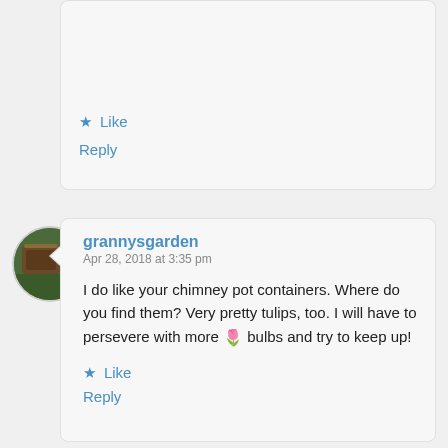Like
Reply
[Figure (photo): Circular avatar image of a garden or outdoor scene]
grannysgarden
Apr 28, 2018 at 3:35 pm
I do like your chimney pot containers. Where do you find them? Very pretty tulips, too. I will have to persevere with more 🌷 bulbs and try to keep up!
Like
Reply